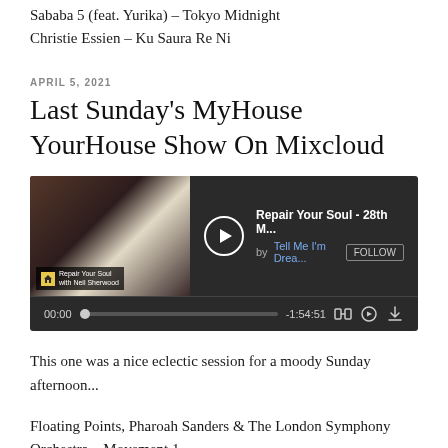Sababa 5 (feat. Yurika) – Tokyo Midnight
Christie Essien – Ku Saura Re Ni
APRIL 5, 2021
Last Sunday's MyHouse YourHouse Show On Mixcloud
[Figure (screenshot): Mixcloud embedded player showing 'Repair Your Soul - 28th M...' by Tell Me I'm Drea... with FOLLOW button, play button, progress bar showing 00:00 and -1:54:51, and control icons. Thumbnail shows a person with bright light and a house logo label reading 'Repair Your Soul with Neil Sherwood'.]
This one was a nice eclectic session for a moody Sunday afternoon...
Floating Points, Pharoah Sanders & The London Symphony Orchestra – Movement 1